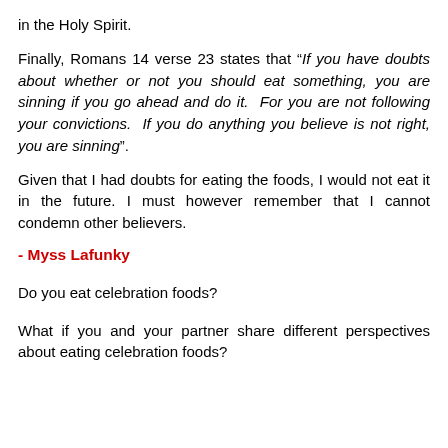in the Holy Spirit.
Finally, Romans 14 verse 23 states that “If you have doubts about whether or not you should eat something, you are sinning if you go ahead and do it.  For you are not following your convictions.  If you do anything you believe is not right, you are sinning”.
Given that I had doubts for eating the foods, I would not eat it in the future. I must however remember that I cannot condemn other believers.
- Myss Lafunky
Do you eat celebration foods?
What if you and your partner share different perspectives about eating celebration foods?